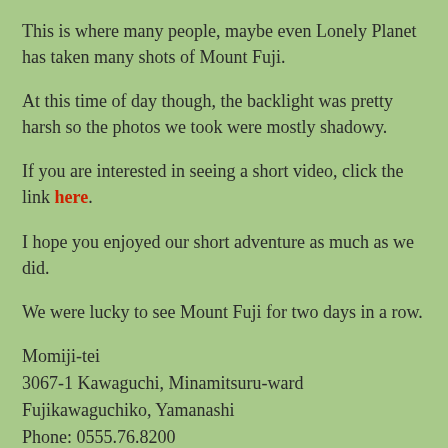This is where many people, maybe even Lonely Planet has taken many shots of Mount Fuji.
At this time of day though, the backlight was pretty harsh so the photos we took were mostly shadowy.
If you are interested in seeing a short video, click the link here.
I hope you enjoyed our short adventure as much as we did.
We were lucky to see Mount Fuji for two days in a row.
Momiji-tei
3067-1 Kawaguchi, Minamitsuru-ward
Fujikawaguchiko, Yamanashi
Phone: 0555.76.8200
Hours 10:30-21:00
Arakurayama Sengen Park
From Fujikyu Shimoyoshida station about 10 minutes plus 398 stairs.